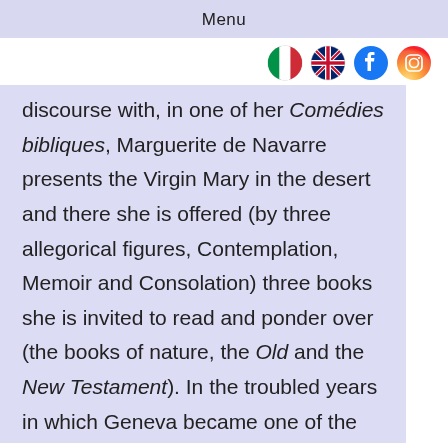Menu
[Figure (other): Row of social/language icons: Italian flag, UK flag, Facebook logo, Instagram logo]
discourse with, in one of her Comédies bibliques, Marguerite de Navarre presents the Virgin Mary in the desert and there she is offered (by three allegorical figures, Contemplation, Memoir and Consolation) three books she is invited to read and ponder over (the books of nature, the Old and the New Testament). In the troubled years in which Geneva became one of the bulwarks of